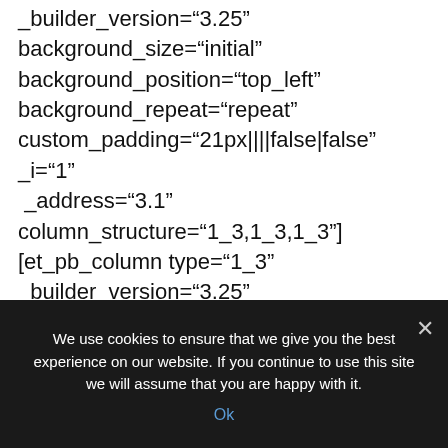_builder_version="3.25"
background_size="initial"
background_position="top_left"
background_repeat="repeat"
custom_padding="21px||||false|false" _i="1"
_address="3.1" column_structure="1_3,1_3,1_3"]
[et_pb_column type="1_3"
_builder_version="3.25"
background_color="#ffffff"
custom_padding="|||"
custom_css_main_element="border: 1px solid
We use cookies to ensure that we give you the best experience on our website. If you continue to use this site we will assume that you are happy with it.
Ok